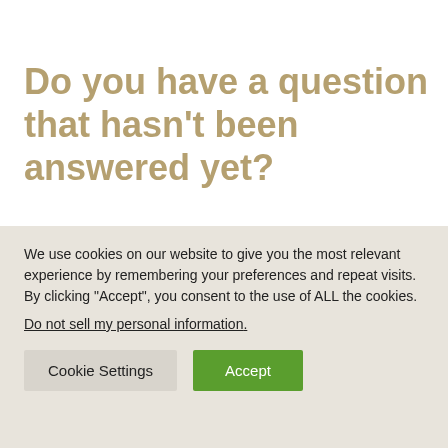Do you have a question that hasn't been answered yet?
The fastest and most reliable way for you to get a reply is to choose to contact
We use cookies on our website to give you the most relevant experience by remembering your preferences and repeat visits. By clicking “Accept”, you consent to the use of ALL the cookies.
Do not sell my personal information.
Cookie Settings | Accept